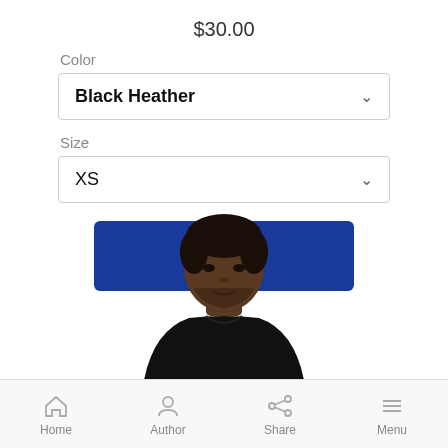$30.00
Color
Black Heather
Size
XS
Buy now
[Figure (photo): Man wearing a black t-shirt, shown from shoulders up]
Home  Author  Share  Menu